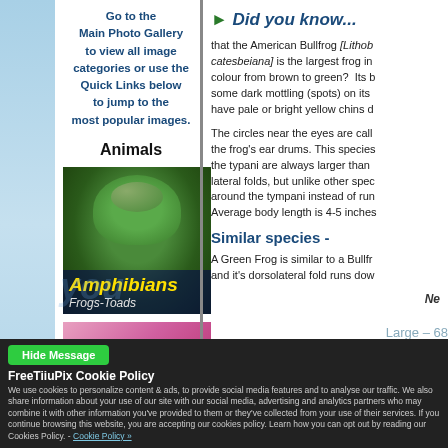Go to the Main Photo Gallery to view all image categories or use the Quick Links below to jump to the most popular images.
Animals
[Figure (photo): Close-up photo of a frog's face, green coloring, with overlaid text 'Amphibians' in yellow and 'Frogs-Toads' in italic white]
[Figure (photo): Photo of a bee on pink flower petals]
► Did you know...
that the American Bullfrog [Lithob catesbeiana] is the largest frog in colour from brown to green? Its b some dark mottling (spots) on its have pale or bright yellow chins d
The circles near the eyes are call the frog's ear drums. This species the typani are always larger than lateral folds, but unlike other spec around the tympani instead of run Average body length is 4-5 inches
Similar species -
A Green Frog is similar to a Bullf and it's dorsolateral fold runs dow
Ne
Hide Message
FreeTiiuPix Cookie Policy
We use cookies to personalize content & ads, to provide social media features and to analyse our traffic. We also share information about your use of our site with our social media, advertising and analytics partners who may combine it with other information you've provided to them or they've collected from your use of their services. If you continue browsing this website, you are accepting our cookies policy. Learn how you can opt out by reading our Cookies Policy. - Cookie Policy »